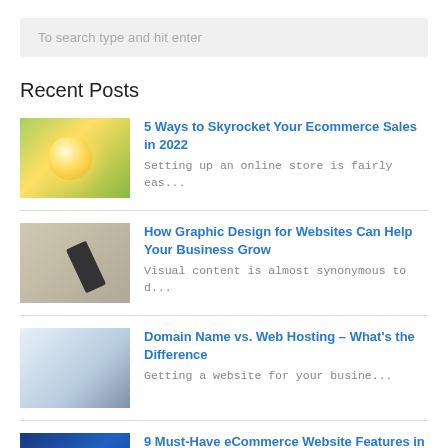To search type and hit enter
Recent Posts
5 Ways to Skyrocket Your Ecommerce Sales in 2022 — Setting up an online store is fairly eas...
How Graphic Design for Websites Can Help Your Business Grow — Visual content is almost synonymous to d...
Domain Name vs. Web Hosting – What's the Difference — Getting a website for your busine...
9 Must-Have eCommerce Website Features in 2022 — Are you selling your products online? Th...
How to Create a Social Media Strategy